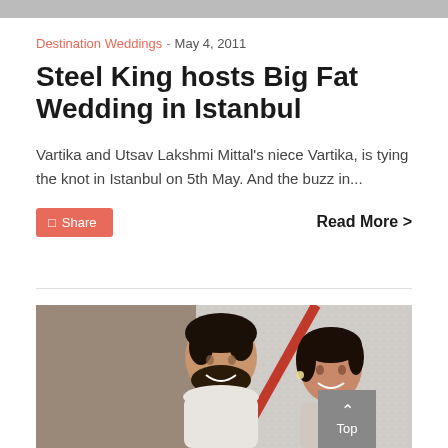[Figure (photo): Top image bar — partial photo strip at the top of the page]
Destination Weddings - May 4, 2011
Steel King hosts Big Fat Wedding in Istanbul
Vartika and Utsav Lakshmi Mittal's niece Vartika, is tying the knot in Istanbul on 5th May. And the buzz in...
Share   Read More >
[Figure (photo): Photo of a smiling couple — a man with dark beard in white shirt and a woman with dark hair, light dotted background]